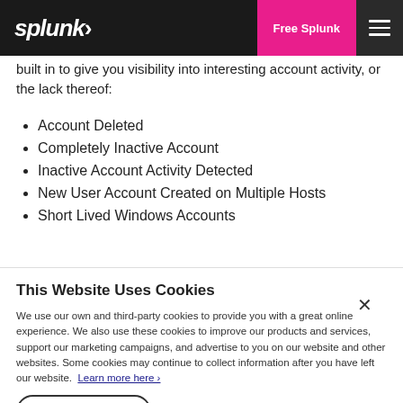splunk> | Free Splunk | ☰
built in to give you visibility into interesting account activity, or the lack thereof:
Account Deleted
Completely Inactive Account
Inactive Account Activity Detected
New User Account Created on Multiple Hosts
Short Lived Windows Accounts
This Website Uses Cookies
We use our own and third-party cookies to provide you with a great online experience. We also use these cookies to improve our products and services, support our marketing campaigns, and advertise to you on our website and other websites. Some cookies may continue to collect information after you have left our website. Learn more here ›
Accept Cookies | Cookies Settings ›